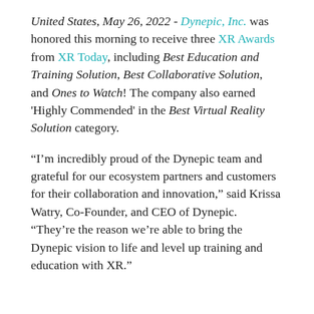United States, May 26, 2022 - Dynepic, Inc. was honored this morning to receive three XR Awards from XR Today, including Best Education and Training Solution, Best Collaborative Solution, and Ones to Watch! The company also earned 'Highly Commended' in the Best Virtual Reality Solution category.
“I’m incredibly proud of the Dynepic team and grateful for our ecosystem partners and customers for their collaboration and innovation,” said Krissa Watry, Co-Founder, and CEO of Dynepic. “They’re the reason we’re able to bring the Dynepic vision to life and level up training and education with XR.”